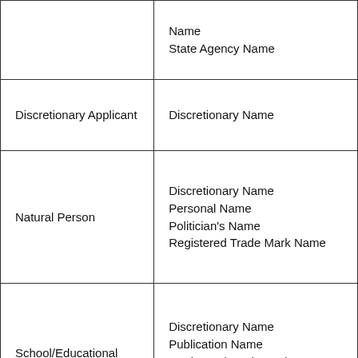| Applicant Type | Name Type |
| --- | --- |
|  | Name
State Agency Name |
| Discretionary Applicant | Discretionary Name |
| Natural Person | Discretionary Name
Personal Name
Politician's Name
Registered Trade Mark Name |
| School/Educational Institution | Discretionary Name
Publication Name
Registered Trade Mark Name
School/Educational Institution Name |
|  | Discretionary Name
Personal Trading Name
Publication Name |